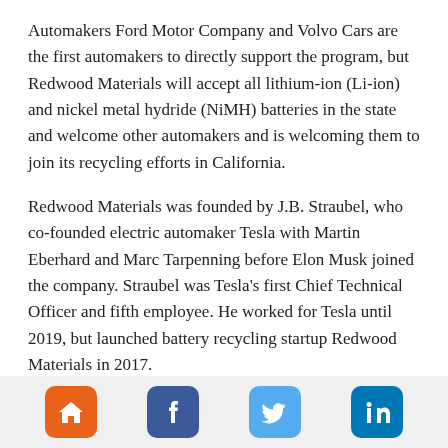Automakers Ford Motor Company and Volvo Cars are the first automakers to directly support the program, but Redwood Materials will accept all lithium-ion (Li-ion) and nickel metal hydride (NiMH) batteries in the state and welcome other automakers and is welcoming them to join its recycling efforts in California.
Redwood Materials was founded by J.B. Straubel, who co-founded electric automaker Tesla with Martin Eberhard and Marc Tarpenning before Elon Musk joined the company. Straubel was Tesla's first Chief Technical Officer and fifth employee. He worked for Tesla until 2019, but launched battery recycling startup Redwood Materials in 2017.
Redwood's recycling plans with Ford were announced in Sept
[Figure (infographic): Footer social media buttons: home (orange), Facebook (dark blue), Twitter (light blue), LinkedIn (blue)]